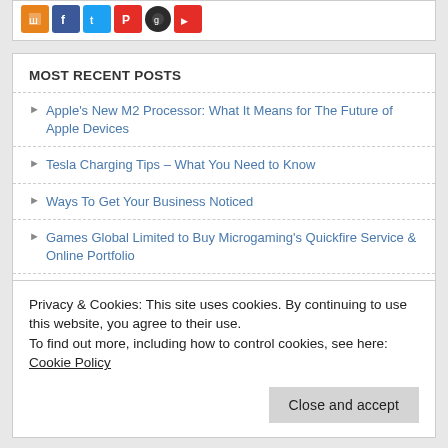[Figure (other): Row of social media icon buttons: orange (RSS/share), blue (Facebook), light blue (Twitter), red (Pinterest), dark/circle, red (YouTube)]
MOST RECENT POSTS
Apple's New M2 Processor: What It Means for The Future of Apple Devices
Tesla Charging Tips – What You Need to Know
Ways To Get Your Business Noticed
Games Global Limited to Buy Microgaming's Quickfire Service & Online Portfolio
7 Destinations with the Most Beautiful Sunsets
How to manage your money wisely
Privacy & Cookies: This site uses cookies. By continuing to use this website, you agree to their use.
To find out more, including how to control cookies, see here: Cookie Policy
Close and accept